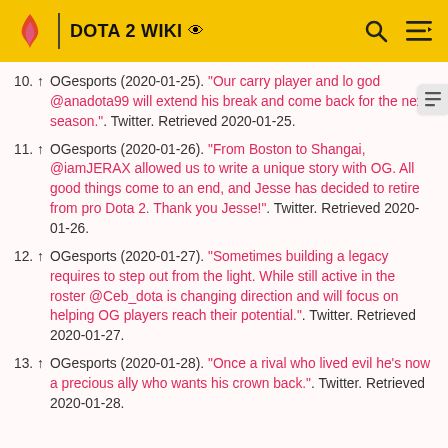DOTA 2 WIKI
10. ↑ OGesports (2020-01-25). "Our carry player and lo god @anadota99 will extend his break and come back for the next season.". Twitter. Retrieved 2020-01-25.
11. ↑ OGesports (2020-01-26). "From Boston to Shangai, @iamJERAX allowed us to write a unique story with OG. All good things come to an end, and Jesse has decided to retire from pro Dota 2. Thank you Jesse!". Twitter. Retrieved 2020-01-26.
12. ↑ OGesports (2020-01-27). "Sometimes building a legacy requires to step out from the light. While still active in the roster @Ceb_dota is changing direction and will focus on helping OG players reach their potential.". Twitter. Retrieved 2020-01-27.
13. ↑ OGesports (2020-01-28). "Once a rival who lived evil he's now a precious ally who wants his crown back.". Twitter. Retrieved 2020-01-28.